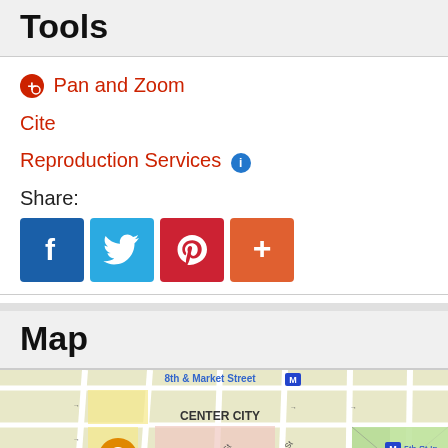Tools
Pan and Zoom
Cite
Reproduction Services
Share:
[Figure (infographic): Social share buttons: Facebook, Twitter, Pinterest, More (+)]
Map
[Figure (map): Google-style street map showing Center City Philadelphia area with 8th & Market Street M station, 5th St In.. M station, El Vez restaurant marker, Liberty Bell marker, and surrounding streets including S 9th St, S 10th St, S 12th St, S 4th St.]